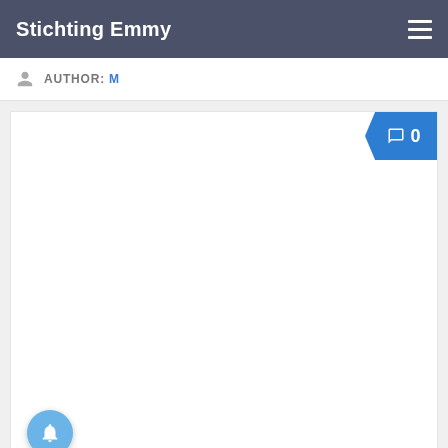Stichting Emmy
AUTHOR: M
[Figure (screenshot): White content card with a blue comment badge showing '0' comments in the top right corner, and a light blue notification bell button at the bottom left.]